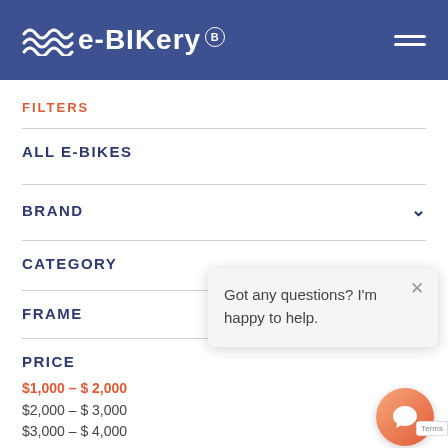e-BIKery
FILTERS
ALL E-BIKES
BRAND
CATEGORY
FRAME
PRICE
$1,000 – $2,000
$2,000 – $3,000
$3,000 – $4,000
Got any questions? I'm happy to help.